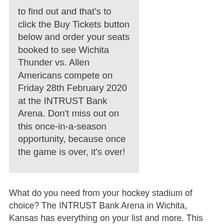to find out and that's to click the Buy Tickets button below and order your seats booked to see Wichita Thunder vs. Allen Americans compete on Friday 28th February 2020 at the INTRUST Bank Arena. Don't miss out on this once-in-a-season opportunity, because once the game is over, it's over!
What do you need from your hockey stadium of choice? The INTRUST Bank Arena in Wichita, Kansas has everything on your list and more. This arena hosts to some of the most exciting matches in the league and offers a awesome view of